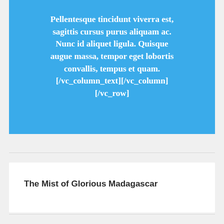Pellentesque tincidunt viverra est, sagittis cursus purus aliquam ac. Nunc id aliquet ligula. Quisque augue massa, tempor eget lobortis convallis, tempus et quam. [/vc_column_text][/vc_column][/vc_row]
The Mist of Glorious Madagascar